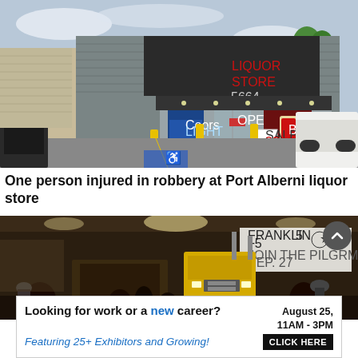[Figure (photo): Exterior of a liquor store building with large red 'LIQUOR STORE' sign on a dark fascia. Glass entrance doors with promotional posters (Coors, Budweiser). Yellow bollards in parking lot. Handicap parking space visible.]
One person injured in robbery at Port Alberni liquor store
[Figure (photo): Indoor event photo, dimly lit hall with vintage/antique trucks and equipment on display. Banners in background reading 'Franklin Division 5'. A man in a cowboy hat visible in foreground.]
Looking for work or a new career? August 25, 11AM - 3PM Featuring 25+ Exhibitors and Growing! CLICK HERE